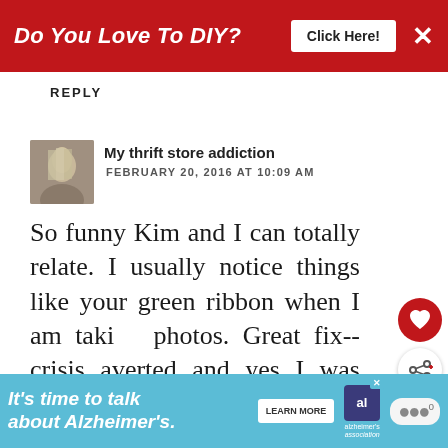[Figure (screenshot): Red advertisement banner with text 'Do You Love To DIY?' and a white 'Click Here!' button and an X close button]
REPLY
[Figure (photo): Small avatar photo of a person with light hair]
My thrift store addiction
FEBRUARY 20, 2016 AT 10:09 AM
So funny Kim and I can totally relate. I usually notice things like your green ribbon when I am taki photos. Great fix--crisis averted and yes I was hungry and am munch on Girl Scout thin mints ;)
REPLY DELETE
[Figure (screenshot): What's Next panel showing a thumbnail and text 'Decorating: The Power o...' with arrow label]
[Figure (screenshot): Bottom Alzheimer's association advertisement banner with teal background saying 'It's time to talk about Alzheimer's.' with Learn More button]